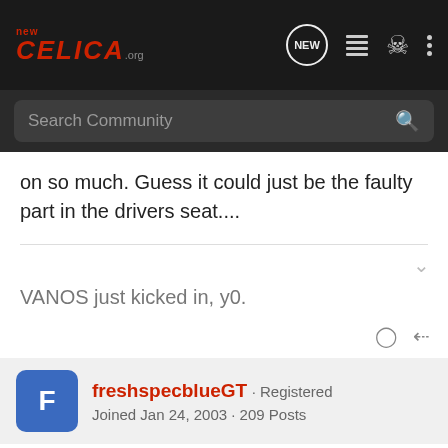newcelica.org - Search Community
on so much. Guess it could just be the faulty part in the drivers seat....
VANOS just kicked in, y0.
freshspecblueGT · Registered
Joined Jan 24, 2003 · 209 Posts
#7 · Mar 8, 2005
Have you given the brakes a good bleed recently? If you have a